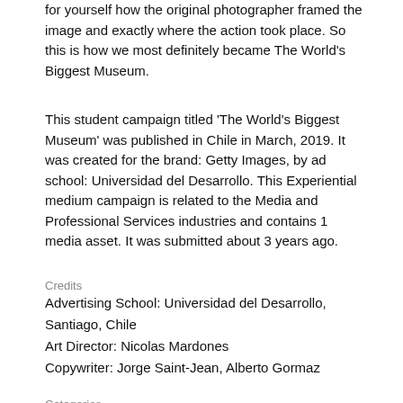for yourself how the original photographer framed the image and exactly where the action took place. So this is how we most definitely became The World's Biggest Museum.
This student campaign titled 'The World's Biggest Museum' was published in Chile in March, 2019. It was created for the brand: Getty Images, by ad school: Universidad del Desarrollo. This Experiential medium campaign is related to the Media and Professional Services industries and contains 1 media asset. It was submitted about 3 years ago.
Credits
Advertising School: Universidad del Desarrollo, Santiago, Chile
Art Director: Nicolas Mardones
Copywriter: Jorge Saint-Jean, Alberto Gormaz
Categories